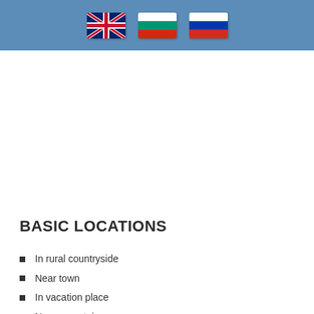[Figure (other): Header bar with three country flags: UK (Union Jack), Bulgaria, and Russia]
BASIC LOCATIONS
In rural countryside
Near town
In vacation place
Near mountain